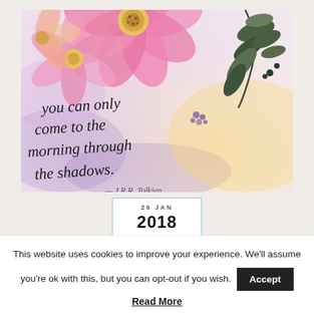[Figure (illustration): Watercolor painting with pink flowers, dark green leaves, and cursive calligraphy text reading: 'you can only come to the morning through the shadows.' on a pastel purple, pink, and yellow background.]
26 JAN 2018
Painted by Donna #76 with Flourish...
This website uses cookies to improve your experience. We'll assume you're ok with this, but you can opt-out if you wish. Accept
Read More